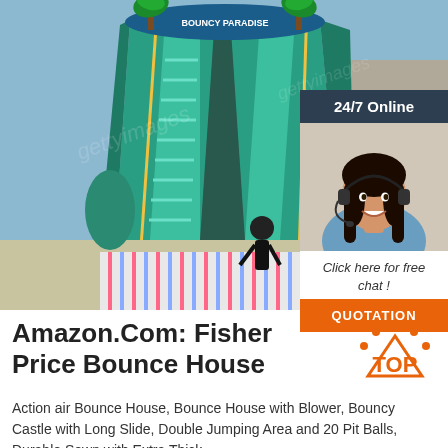[Figure (photo): Large inflatable bounce house / water slide in teal and yellow colors with palm tree decorations at the top. A person in a dark shirt is visible at the bottom. Blue sky background.]
[Figure (infographic): Chat widget overlay on top right of image showing '24/7 Online' header in dark blue, a photo of a smiling woman with headset, text 'Click here for free chat !', and an orange QUOTATION button.]
Amazon.Com: Fisher Price Bounce House
[Figure (illustration): Orange 'TOP' badge with dots forming an arc above the word TOP in orange text.]
Action air Bounce House, Bounce House with Blower, Bouncy Castle with Long Slide, Double Jumping Area and 20 Pit Balls, Durable Sewn with Extra Thick